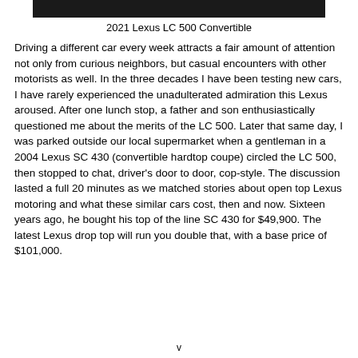[Figure (photo): Top portion of a dark/black image of a 2021 Lexus LC 500 Convertible]
2021 Lexus LC 500 Convertible
Driving a different car every week attracts a fair amount of attention not only from curious neighbors, but casual encounters with other motorists as well. In the three decades I have been testing new cars, I have rarely experienced the unadulterated admiration this Lexus aroused. After one lunch stop, a father and son enthusiastically questioned me about the merits of the LC 500. Later that same day, I was parked outside our local supermarket when a gentleman in a 2004 Lexus SC 430 (convertible hardtop coupe) circled the LC 500, then stopped to chat, driver’s door to door, cop-style. The discussion lasted a full 20 minutes as we matched stories about open top Lexus motoring and what these similar cars cost, then and now. Sixteen years ago, he bought his top of the line SC 430 for $49,900. The latest Lexus drop top will run you double that, with a base price of $101,000.
v